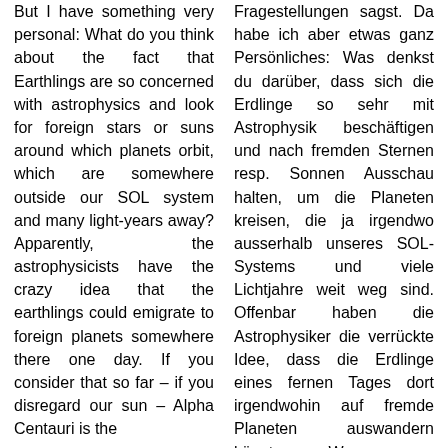But I have something very personal: What do you think about the fact that Earthlings are so concerned with astrophysics and look for foreign stars or suns around which planets orbit, which are somewhere outside our SOL system and many light-years away? Apparently, the astrophysicists have the crazy idea that the earthlings could emigrate to foreign planets somewhere there one day. If you consider that so far – if you disregard our sun – Alpha Centauri is the
Fragestellungen sagst. Da habe ich aber etwas ganz Persönliches: Was denkst du darüber, dass sich die Erdlinge so sehr mit Astrophysik beschäftigen und nach fremden Sternen resp. Sonnen Ausschau halten, um die Planeten kreisen, die ja irgendwo ausserhalb unseres SOL-Systems und viele Lichtjahre weit weg sind. Offenbar haben die Astrophysiker die verrückte Idee, dass die Erdlinge eines fernen Tages dort irgendwohin auf fremde Planeten auswandern könnten. Wenn man bedenkt, dass bisher – wenn man unsere Sonne ausser Acht lässt – Alpha